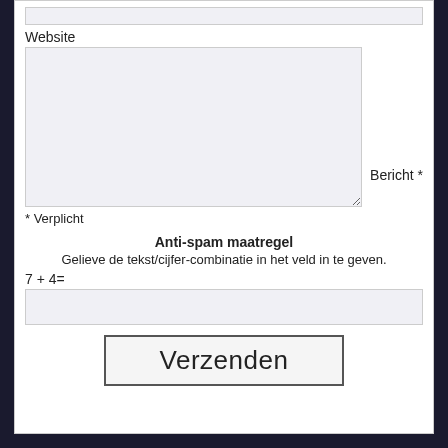Website
Bericht *
* Verplicht
Anti-spam maatregel
Gelieve de tekst/cijfer-combinatie in het veld in te geven.
7 + 4=
Verzenden